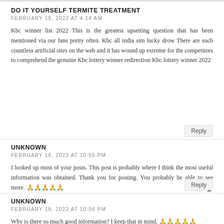DO IT YOURSELF TERMITE TREATMENT
FEBRUARY 18, 2022 AT 4:14 AM
Kbc winner list 2022 This is the greatest upsetting question that has been mentioned via our fans pretty often. Kbc all india sim lucky drow There are such countless artificial sites on the web and it has wound up extreme for the competitors to comprehend the genuine Kbc lottery winner redirection Kbc lottery winner 2022
Reply
UNKNOWN
FEBRUARY 18, 2022 AT 10:55 PM
I looked up most of your posts. This post is probably where I think the most useful information was obtained. Thank you for posting. You probably be able to see more. 🙏🙏🙏🙏🙏
Reply
UNKNOWN
FEBRUARY 18, 2022 AT 10:56 PM
Why is there so much good information? I keep that in mind. 🙏🙏🙏🙏🙏